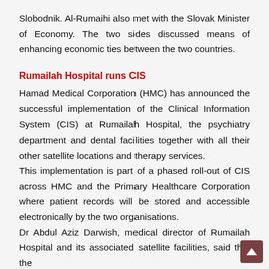Slobodnik. Al-Rumaihi also met with the Slovak Minister of Economy. The two sides discussed means of enhancing economic ties between the two countries.
Rumailah Hospital runs CIS
Hamad Medical Corporation (HMC) has announced the successful implementation of the Clinical Information System (CIS) at Rumailah Hospital, the psychiatry department and dental facilities together with all their other satellite locations and therapy services.
This implementation is part of a phased roll-out of CIS across HMC and the Primary Healthcare Corporation where patient records will be stored and accessible electronically by the two organisations.
Dr Abdul Aziz Darwish, medical director of Rumailah Hospital and its associated satellite facilities, said that the